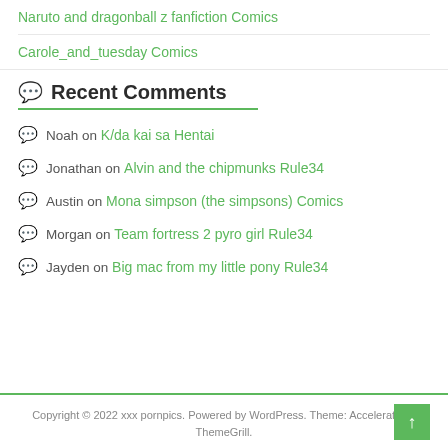Naruto and dragonball z fanfiction Comics
Carole_and_tuesday Comics
Recent Comments
Noah on K/da kai sa Hentai
Jonathan on Alvin and the chipmunks Rule34
Austin on Mona simpson (the simpsons) Comics
Morgan on Team fortress 2 pyro girl Rule34
Jayden on Big mac from my little pony Rule34
Copyright © 2022 xxx pornpics. Powered by WordPress. Theme: Accelerate by ThemeGrill.